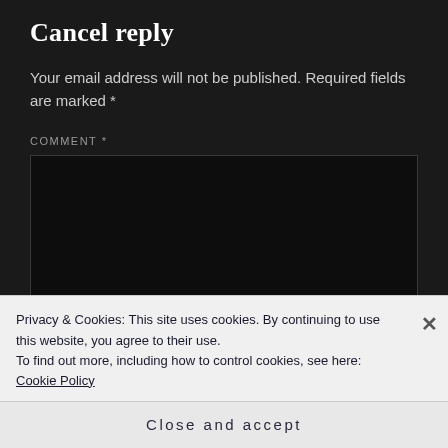Cancel reply
Your email address will not be published. Required fields are marked *
COMMENT *
[Figure (other): Dark textarea input box for comment entry]
Privacy & Cookies: This site uses cookies. By continuing to use this website, you agree to their use.
To find out more, including how to control cookies, see here: Cookie Policy
Close and accept